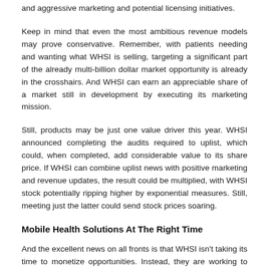and aggressive marketing and potential licensing initiatives.
Keep in mind that even the most ambitious revenue models may prove conservative. Remember, with patients needing and wanting what WHSI is selling, targeting a significant part of the already multi-billion dollar market opportunity is already in the crosshairs. And WHSI can earn an appreciable share of a market still in development by executing its marketing mission.
Still, products may be just one value driver this year. WHSI announced completing the audits required to uplist, which could, when completed, add considerable value to its share price. If WHSI can combine uplist news with positive marketing and revenue updates, the result could be multiplied, with WHSI stock potentially ripping higher by exponential measures. Still, meeting just the latter could send stock prices soaring.
Mobile Health Solutions At The Right Time
And the excellent news on all fronts is that WHSI isn't taking its time to monetize opportunities. Instead, they are working to unleash the value inherent to its mobile health solutions products by integrating cutting-edge technology, providing users real-time information that can be seamlessly transmitted to family and healthcare providers. It's a capability attractive to users because it allows for a sense of freedom for patients, with embedded device technology and transmission allowing patients to transmit data from